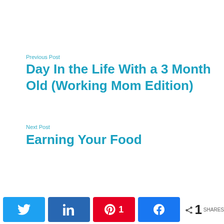Previous Post
Day In the Life With a 3 Month Old (Working Mom Edition)
Next Post
Earning Your Food
N in 1 SHARES